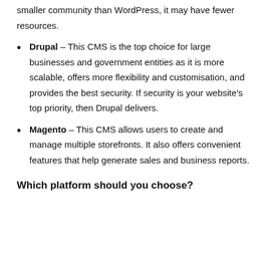smaller community than WordPress, it may have fewer resources.
Drupal – This CMS is the top choice for large businesses and government entities as it is more scalable, offers more flexibility and customisation, and provides the best security. If security is your website's top priority, then Drupal delivers.
Magento – This CMS allows users to create and manage multiple storefronts. It also offers convenient features that help generate sales and business reports.
Which platform should you choose?